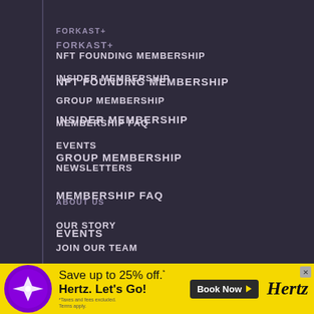FORKAST+
NFT FOUNDING MEMBERSHIP
INSIDER MEMBERSHIP
GROUP MEMBERSHIP
MEMBERSHIP FAQ
EVENTS
NEWSLETTERS
ABOUT US
OUR STORY
JOIN OUR TEAM
CONTACT
COOKIES
TERMS OF SERVICE
[Figure (other): Forkast logo — purple circle with white stylized compass/arrow icon]